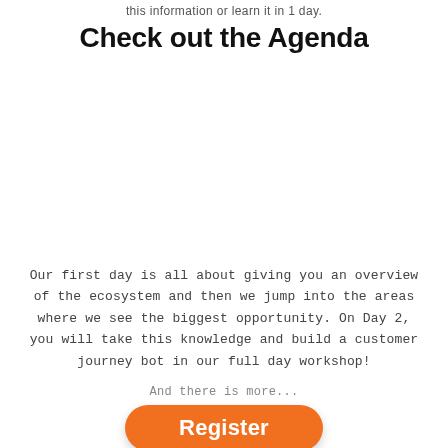this information or learn it in 1 day.
Check out the Agenda
Our first day is all about giving you an overview of the ecosystem and then we jump into the areas where we see the biggest opportunity. On Day 2, you will take this knowledge and build a customer journey bot in our full day workshop!
And there is more...
Register